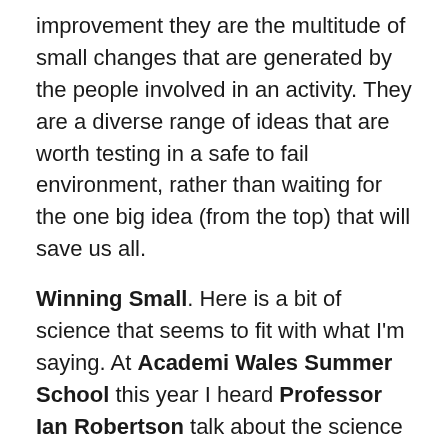improvement they are the multitude of small changes that are generated by the people involved in an activity. They are a diverse range of ideas that are worth testing in a safe to fail environment, rather than waiting for the one big idea (from the top) that will save us all.
Winning Small. Here is a bit of science that seems to fit with what I'm saying. At Academi Wales Summer School this year I heard Professor Ian Robertson talk about the science of winning. You can watch him explain his research in this video. The gist of the lecture was, if you win small things, your brain chemistry is changed, making it more likely that you will go on to win bigger contests. Lots of the examples he used were drawn from sport, but you could potentially apply this to the world of continuous improvement. If you have lots of small